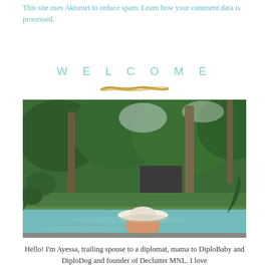This site uses Akismet to reduce spam. Learn how your comment data is processed.
WELCOME
[Figure (illustration): Decorative gold brushstroke divider line]
[Figure (photo): A person wearing a wide-brimmed white hat in an infinity pool surrounded by lush tropical greenery and trees]
Hello! I'm Ayessa, trailing spouse to a diplomat, mama to DiploBaby and DiploDog and founder of Declutter MNL. I love